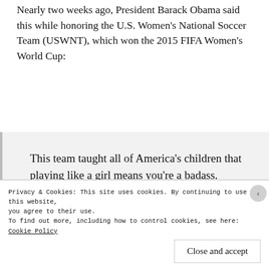Nearly two weeks ago, President Barack Obama said this while honoring the U.S. Women's National Soccer Team (USWNT), which won the 2015 FIFA Women's World Cup:
This team taught all of America's children that playing like a girl means you're a badass.
While it would probably be better for a woman, especially a woman who regards herself as a badass woman, to define what a badass woman is, I'll give my
Privacy & Cookies: This site uses cookies. By continuing to use this website, you agree to their use.
To find out more, including how to control cookies, see here: Cookie Policy
Close and accept